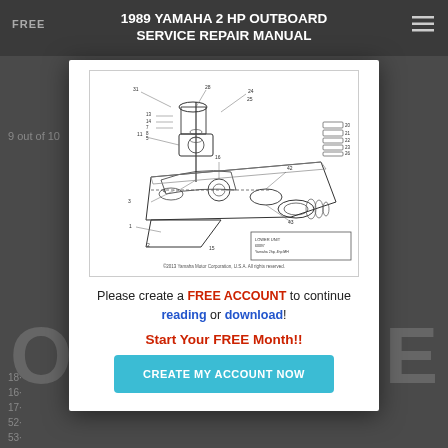1989 YAMAHA 2 HP OUTBOARD SERVICE REPAIR MANUAL
[Figure (schematic): Exploded engineering schematic diagram of a Yamaha outboard motor lower unit assembly with numbered parts and a legend box. Caption reads: ©2013 Yamaha Motor Corporation, U.S.A. All rights reserved.]
Please create a FREE ACCOUNT to continue reading or download!
Start Your FREE Month!!
CREATE MY ACCOUNT NOW